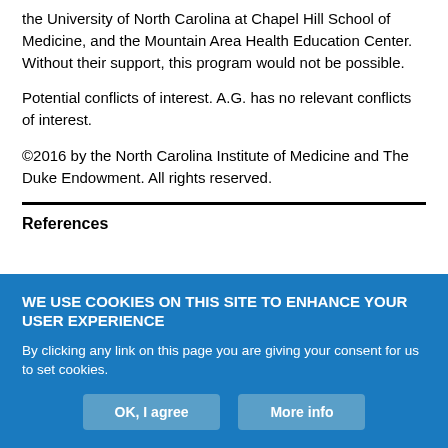the University of North Carolina at Chapel Hill School of Medicine, and the Mountain Area Health Education Center. Without their support, this program would not be possible.
Potential conflicts of interest. A.G. has no relevant conflicts of interest.
©2016 by the North Carolina Institute of Medicine and The Duke Endowment. All rights reserved.
References
WE USE COOKIES ON THIS SITE TO ENHANCE YOUR USER EXPERIENCE
By clicking any link on this page you are giving your consent for us to set cookies.